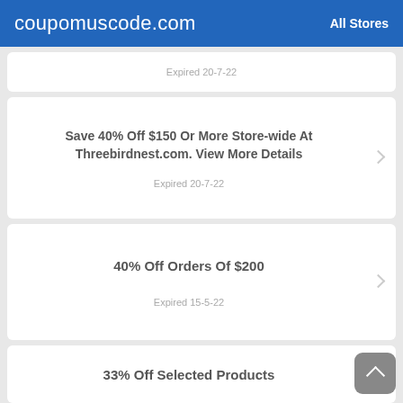coupomuscode.com   All Stores
Expired 20-7-22
Save 40% Off $150 Or More Store-wide At Threebirdnest.com. View More Details
Expired 20-7-22
40% Off Orders Of $200
Expired 15-5-22
33% Off Selected Products